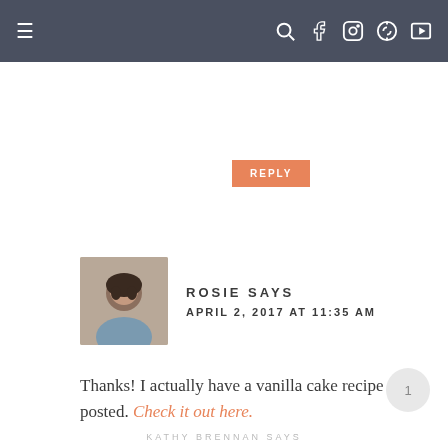Navigation bar with menu and social icons
REPLY
ROSIE SAYS
APRIL 2, 2017 AT 11:35 AM
Thanks! I actually have a vanilla cake recipe posted. Check it out here.
REPLY
KATHY BRENNAN SAYS